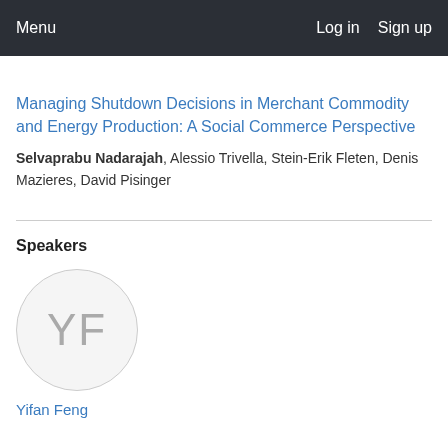Menu   Log in   Sign up
Managing Shutdown Decisions in Merchant Commodity and Energy Production: A Social Commerce Perspective
Selvaprabu Nadarajah, Alessio Trivella, Stein-Erik Fleten, Denis Mazieres, David Pisinger
Speakers
[Figure (illustration): Circular avatar placeholder with initials YF in gray on light background]
Yifan Feng